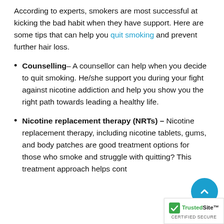According to experts, smokers are most successful at kicking the bad habit when they have support. Here are some tips that can help you quit smoking and prevent further hair loss.
Counselling– A counsellor can help when you decide to quit smoking. He/she support you during your fight against nicotine addiction and help you show you the right path towards leading a healthy life.
Nicotine replacement therapy (NRTs) – Nicotine replacement therapy, including nicotine tablets, gums, and body patches are good treatment options for those who smoke and struggle with quitting? This treatment approach helps cont...